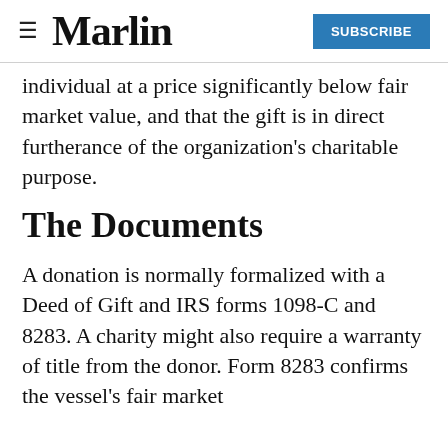≡ Marlin SUBSCRIBE
individual at a price significantly below fair market value, and that the gift is in direct furtherance of the organization's charitable purpose.
The Documents
A donation is normally formalized with a Deed of Gift and IRS forms 1098-C and 8283. A charity might also require a warranty of title from the donor. Form 8283 confirms the vessel's fair market